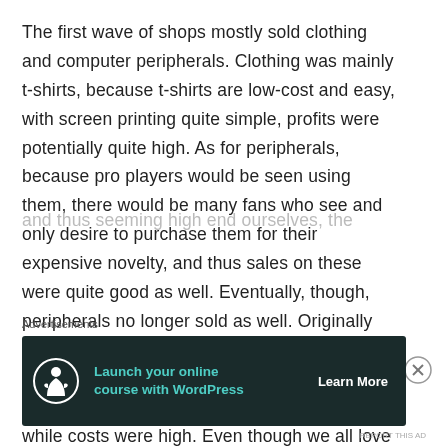The first wave of shops mostly sold clothing and computer peripherals. Clothing was mainly t-shirts, because t-shirts are low-cost and easy, with screen printing quite simple, profits were potentially quite high. As for peripherals, because pro players would be seen using them, there would be many fans who see and only desire to purchase them for their expensive novelty, and thus sales on these were quite good as well. Eventually, though, peripherals no longer sold as well. Originally the main products were from Razer, Steelseries, famous foreign companies, and the profit margins on these were very little, while costs were high. Even though we all love having high end gear and thus seeming high end ourselves, the costs of these
Advertisements
[Figure (other): Advertisement banner with dark background showing 'Launch your online course with WordPress' with a Learn More button and a tree/person icon.]